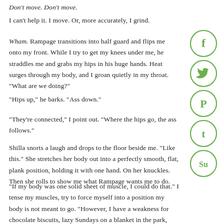Don't move. Don't move.
I can't help it. I move. Or, more accurately, I grind.
Wham. Rampage transitions into half guard and flips me onto my front. While I try to get my knees under me, he straddles me and grabs my hips in his huge hands. Heat surges through my body, and I groan quietly in my throat. "What are we doing?"
"Hips up," he barks. "Ass down."
"They're connected," I point out. "Where the hips go, the ass follows."
Shilla snorts a laugh and drops to the floor beside me. "Like this." She stretches her body out into a perfectly smooth, flat, plank position, holding it with one hand. On her knuckles. Then she rolls to show me what Rampage wants me to do.
"If my body was one solid sheet of muscle, I could do that." I tense my muscles, try to force myself into a position my body is not meant to go. "However, I have a weakness for chocolate biscuits, lazy Sundays on a blanket in the park, scones with clotted cream, and chicken tikka with thick, white naan bread slathered in butter. Unfortunately, it lowers my middle center of gravity."
[Figure (infographic): Vertical social media share buttons: Facebook (f), Twitter (bird), Pinterest (P), Tumblr (t), StumbleUpon (Su) — all in green circles]